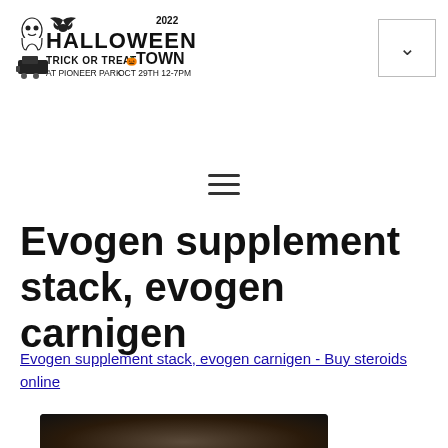[Figure (logo): Halloween Town 2022 logo - Trick or Treat at Pioneer Park, Oct 29th 12-7pm, with ghost, train, and bat illustrations]
[Figure (other): Navigation dropdown button with chevron/arrow icon]
[Figure (other): Hamburger menu icon with three horizontal lines]
Evogen supplement stack, evogen carnigen
Evogen supplement stack, evogen carnigen - Buy steroids online
[Figure (photo): Dark blurred image at bottom of page]